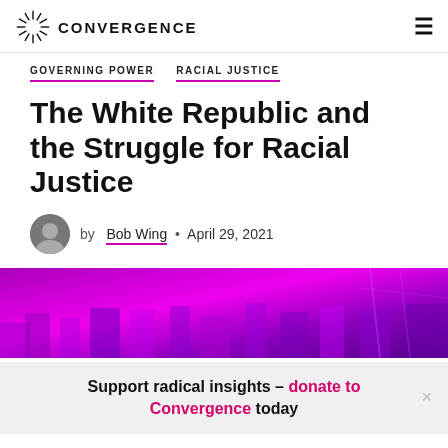CONVERGENCE
GOVERNING POWER
RACIAL JUSTICE
The White Republic and the Struggle for Racial Justice
by Bob Wing • April 29, 2021
[Figure (photo): Purple-tinted hero image showing a crowd of people at a protest or gathering]
Support radical insights – donate to Convergence today